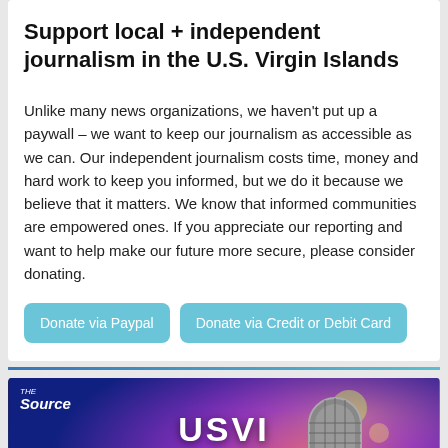Support local + independent journalism in the U.S. Virgin Islands
Unlike many news organizations, we haven't put up a paywall – we want to keep our journalism as accessible as we can. Our independent journalism costs time, money and hard work to keep you informed, but we do it because we believe that it matters. We know that informed communities are empowered ones. If you appreciate our reporting and want to help make our future more secure, please consider donating.
Donate via Paypal
Donate via Credit or Debit Card
[Figure (illustration): USVI Live Music Calendar advertisement banner with microphone image, dark blue background with colorful bokeh lighting, 'The Source' logo in top left, large white text reading 'USVI LIVE MUSIC' and partially visible text below]